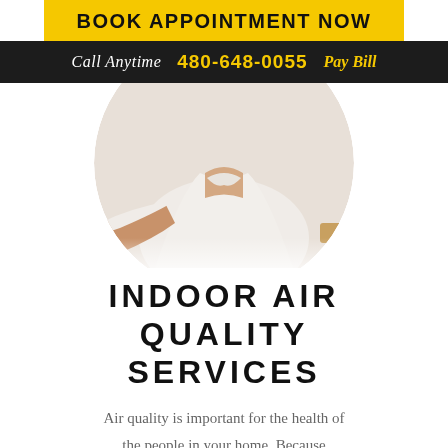BOOK APPOINTMENT NOW
Call Anytime  480-648-0055  Pay Bill
[Figure (photo): Person in white cardigan giving thumbs up, shown in circular crop against white background]
INDOOR AIR QUALITY SERVICES
Air quality is important for the health of the people in your home. Because